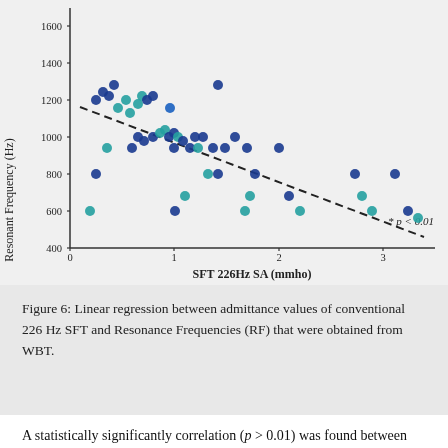[Figure (continuous-plot): Scatter plot with linear regression (dashed line) showing negative correlation between SFT 226Hz SA (mmho) on x-axis (0 to 3+) and Resonant Frequency (Hz) on y-axis (400 to 1600+). Data points are colored in dark blue and teal/cyan. Regression line slopes downward from upper-left to lower-right. Annotation: * p < 0.01]
Figure 6: Linear regression between admittance values of conventional 226 Hz SFT and Resonance Frequencies (RF) that were obtained from WBT.
A statistically significantly correlation (p > 0.01) was found between the two indexes, which is not surprising given that they depend on the same physical properties of the middle